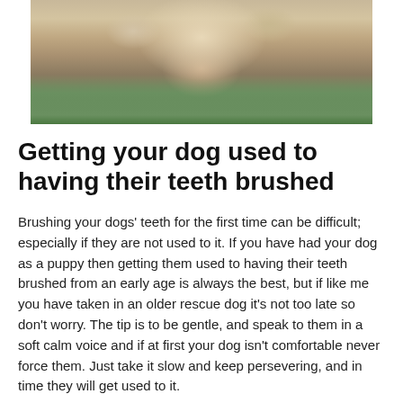[Figure (photo): Close-up photo of a golden/yellow puppy or dog with green grass background]
Getting your dog used to having their teeth brushed
Brushing your dogs' teeth for the first time can be difficult; especially if they are not used to it. If you have had your dog as a puppy then getting them used to having their teeth brushed from an early age is always the best, but if like me you have taken in an older rescue dog it's not too late so don't worry. The tip is to be gentle, and speak to them in a soft calm voice and if at first your dog isn't comfortable never force them. Just take it slow and keep persevering, and in time they will get used to it.
When cleaning your dog's teeth start from the back of their mouth and work your way forward in small circular motions. If your dog really doesn't want to let you brush